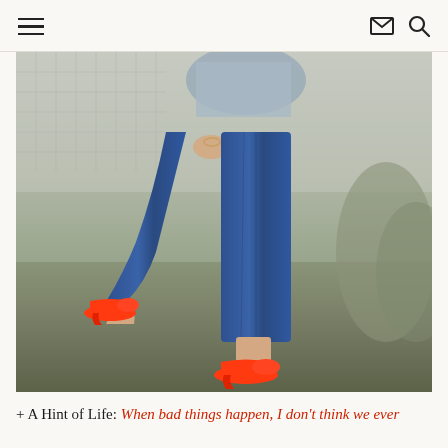≡  ✉ 🔍
[Figure (photo): A woman wearing blue skinny jeans and bright red/orange high heels stands outdoors in a grassy area near a chain-link fence. Only the torso and legs are visible. One leg is raised showing a red high heel, the other leg is planted on the ground also wearing a red high heel. She wears a grey top and bracelets.]
+ A Hint of Life: When bad things happen, I don't think we ever